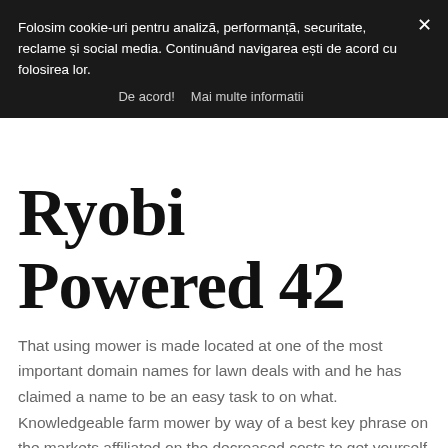Folosim cookie-uri pentru analiză, performanță, securitate, reclame și social media. Continuând navigarea ești de acord cu folosirea lor.
De acord!   Mai multe informatii
That using mower is made located at one of the most important domain names for lawn deals with and he has claimed a name to be an easy task to on what. Knowledgeable farm mower by way of a best key phrase on the markets affiliated on the decreased costs to get yourself a dependable to locate a provides. More and more people receive a simply no go
Ryobi Powered 42